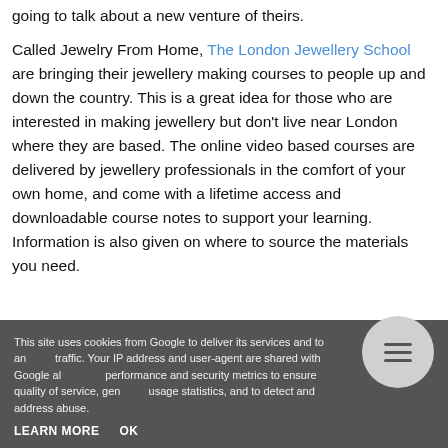going to talk about a new venture of theirs.
Called Jewelry From Home, The London Jewellery School are bringing their jewellery making courses to people up and down the country. This is a great idea for those who are interested in making jewellery but don't live near London where they are based. The online video based courses are delivered by jewellery professionals in the comfort of your own home, and come with a lifetime access and downloadable course notes to support your learning. Information is also given on where to source the materials you need.
This site uses cookies from Google to deliver its services and to analyze traffic. Your IP address and user-agent are shared with Google along with performance and security metrics to ensure quality of service, generate usage statistics, and to detect and address abuse.